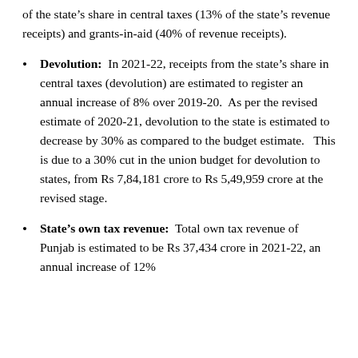of the state's share in central taxes (13% of the state's revenue receipts) and grants-in-aid (40% of revenue receipts).
Devolution: In 2021-22, receipts from the state's share in central taxes (devolution) are estimated to register an annual increase of 8% over 2019-20. As per the revised estimate of 2020-21, devolution to the state is estimated to decrease by 30% as compared to the budget estimate. This is due to a 30% cut in the union budget for devolution to states, from Rs 7,84,181 crore to Rs 5,49,959 crore at the revised stage.
State's own tax revenue: Total own tax revenue of Punjab is estimated to be Rs 37,434 crore in 2021-22, an annual increase of 12%